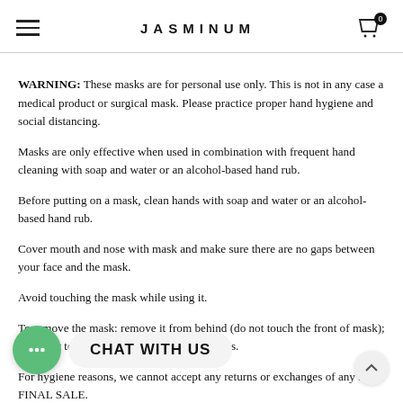JASMINUM
WARNING: These masks are for personal use only. This is not in any case a medical product or surgical mask. Please practice proper hand hygiene and social distancing.
Masks are only effective when used in combination with frequent hand cleaning with soap and water or an alcohol-based hand rub.
Before putting on a mask, clean hands with soap and water or an alcohol-based hand rub.
Cover mouth and nose with mask and make sure there are no gaps between your face and the mask.
Avoid touching the mask while using it.
To remove the mask: remove it from behind (do not touch the front of mask); put away to be washed, then clean your hands.
For hygiene reasons, we cannot accept any returns or exchanges of any kind. FINAL SALE.